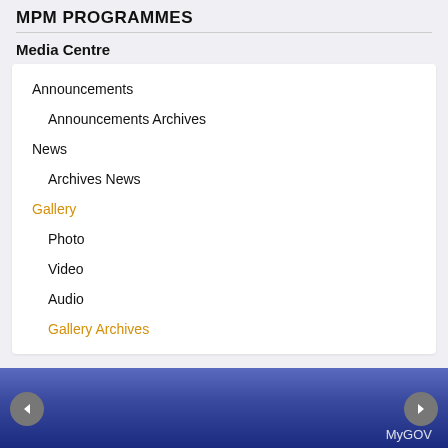MPM PROGRAMMES
Media Centre
Announcements
Announcements Archives
News
Archives News
Gallery
Photo
Video
Audio
Gallery Archives
MyGOV